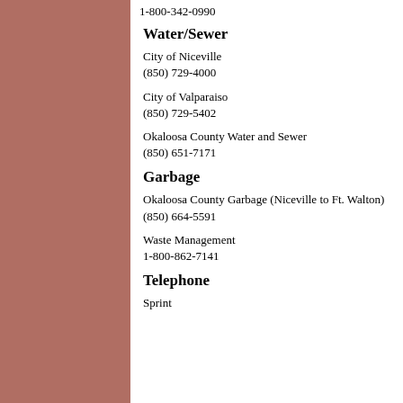1-800-342-0990
Water/Sewer
City of Niceville
(850) 729-4000
City of Valparaiso
(850) 729-5402
Okaloosa County Water and Sewer
(850) 651-7171
Garbage
Okaloosa County Garbage (Niceville to Ft. Walton)
(850) 664-5591
Waste Management
1-800-862-7141
Telephone
Sprint